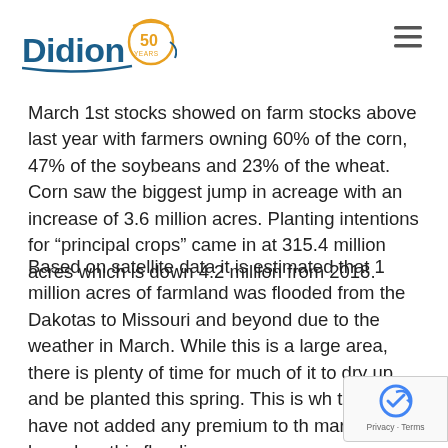Didion [50 Years logo]
March 1st stocks showed on farm stocks above last year with farmers owning 60% of the corn, 47% of the soybeans and 23% of the wheat. Corn saw the biggest jump in acreage with an increase of 3.6 million acres. Planting intentions for “principal crops” came in at 315.4 million acres which is down 4.2 million from 2018.
Based on satellite data it is estimated that 1 million acres of farmland was flooded from the Dakotas to Missouri and beyond due to the weather in March. While this is a large area, there is plenty of time for much of it to dry up and be planted this spring. This is wh traders have not added any premium to th markets based on this flooding.